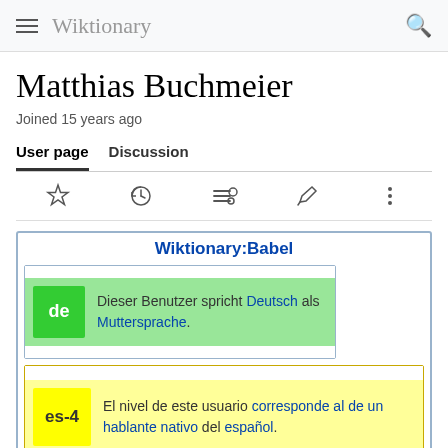Wiktionary
Matthias Buchmeier
Joined 15 years ago
User page   Discussion
[Figure (screenshot): Icon toolbar with star, history, contributors, edit, and more options icons]
| Wiktionary:Babel |
| de | Dieser Benutzer spricht Deutsch als Muttersprache. |
| es-4 | El nivel de este usuario corresponde al de un hablante nativo del español. |